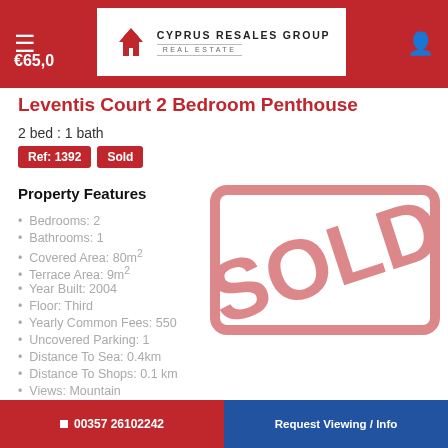Cyprus Resales Group Real Estate
Leventis Court 2 Bedroom Penthouse
2 bed : 1 bath
Ref: 1392   Sold
Property Features
Bedrooms: 2
Bathrooms: 1
Covered Area: 80m²
Terrace Area: 9m²
Year Built: 2004
Floor: Third
Yearly Common Fees: 550
Uncovered Parking: 1
Distance To Sea: 0.4km
Distance To Shops: 0.1 km
Views: Mountain
Views: Sea
00357 26102242   Request Viewing / Info